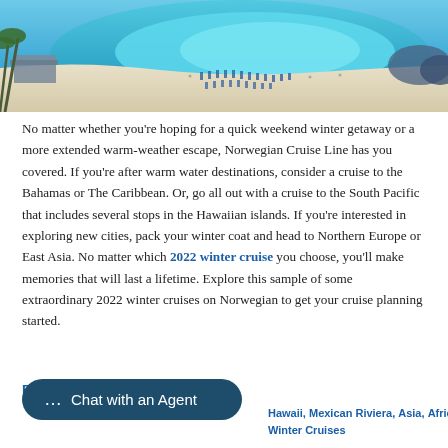[Figure (photo): Aerial view of a tropical beach with turquoise water, white sand, and blue beach chairs/umbrellas arranged in rows along the shore with palm trees visible.]
No matter whether you're hoping for a quick weekend winter getaway or a more extended warm-weather escape, Norwegian Cruise Line has you covered. If you're after warm water destinations, consider a cruise to the Bahamas or The Caribbean. Or, go all out with a cruise to the South Pacific that includes several stops in the Hawaiian islands. If you're interested in exploring new cities, pack your winter coat and head to Northern Europe or East Asia. No matter which 2022 winter cruise you choose, you'll make memories that will last a lifetime. Explore this sample of some extraordinary 2022 winter cruises on Norwegian to get your cruise planning started.
Read More
Chat with an Agent
Hawaii, Mexican Riviera, Asia, Africa, Winter Cruises